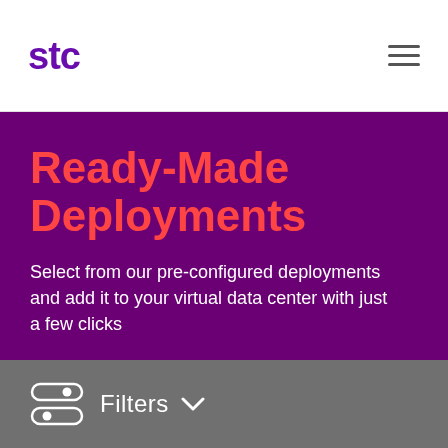stc
Ready-Made Deployments
Select from our pre-configured deployments and add it to your virtual data center with just a few clicks
[Figure (infographic): Filters button with server/slider icon and chevron dropdown arrow in grey bar]